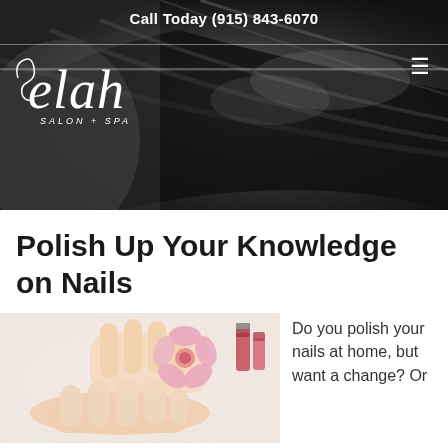Call Today (915) 843-6070
[Figure (photo): Black and white hero image showing a woman with dark hair lying back, salon/spa setting]
[Figure (logo): Selah Salon + Spa logo in white italic script with SALON + SPA in uppercase below]
Polish Up Your Knowledge on Nails
[Figure (photo): Color photo of hands receiving a nail treatment with a pink flower and nail polish bottles in the background]
Do you polish your nails at home, but want a change? Or